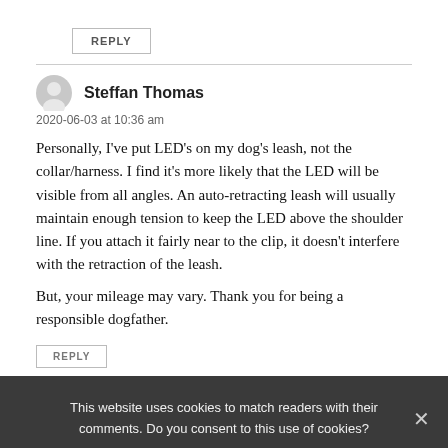REPLY
Steffan Thomas
2020-06-03 at 10:36 am
Personally, I've put LED's on my dog's leash, not the collar/harness. I find it's more likely that the LED will be visible from all angles. An auto-retracting leash will usually maintain enough tension to keep the LED above the shoulder line. If you attach it fairly near to the clip, it doesn't interfere with the retraction of the leash.
But, your mileage may vary. Thank you for being a responsible dogfather.
REPLY
This website uses cookies to match readers with their comments. Do you consent to this use of cookies?
Jonathan Richards